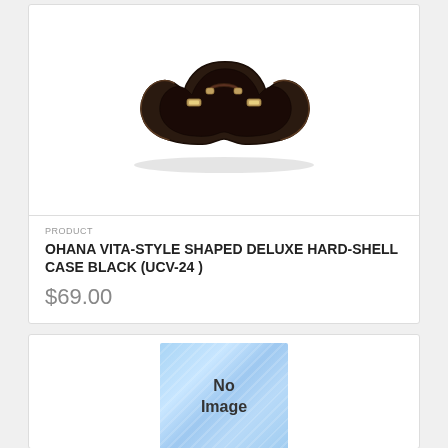[Figure (photo): Black ukulele hard-shell case open, showing the interior, viewed from above at an angle. Dark exterior with silver latches and handle.]
PRODUCT
OHANA VITA-STYLE SHAPED DELUXE HARD-SHELL CASE BLACK (UCV-24)
$69.00
[Figure (photo): No Image placeholder — blue textured background with text 'No Image']